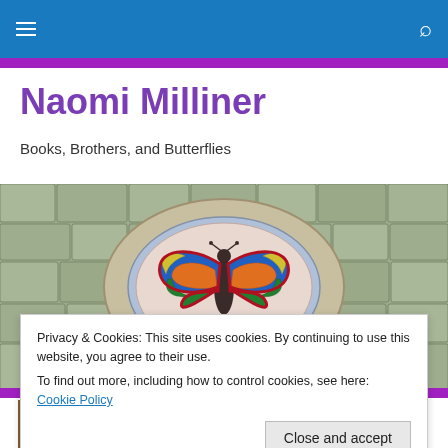Navigation bar with hamburger menu and search icon
Naomi Milliner
Books, Brothers, and Butterflies
[Figure (photo): Mosaic butterfly artwork set into a circular paved stone floor, viewed from above. The butterfly has colorful wings (blue, green, orange, yellow, red) with a dark body, surrounded by an oval light blue mosaic border set in concentric stone paving.]
Privacy & Cookies: This site uses cookies. By continuing to use this website, you agree to their use.
To find out more, including how to control cookies, see here: Cookie Policy
Close and accept
[Figure (photo): Partial bottom image strip showing a colorful scene, cropped at page bottom.]